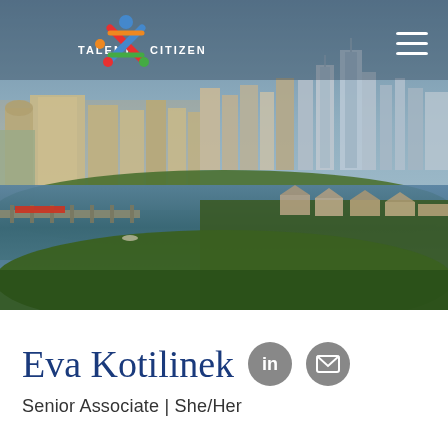[Figure (photo): Aerial cityscape photo showing Minneapolis skyline with river and green areas, with Talent Citizen logo and navigation hamburger menu overlaid at top]
Eva Kotilinek
Senior Associate | She/Her